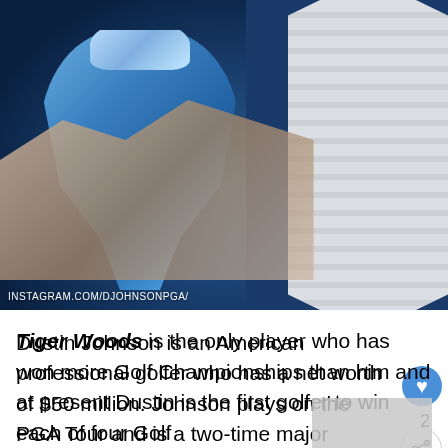[Figure (photo): Person holding a blue glass trophy with a white lei/garland draped over shoulder, wearing a dark navy blue shirt. The background shows green foliage.]
INSTAGRAM.COM/DJOHNSONPGA/
Dustin Johnson is an American professional golfer who has a net worth of $50 million. Johnson plays on the PGA Tour and is a two-time major champion, having won the 2016 U.S. Open at Oakmont Country Club and the 2020 Masters Tournament.
Tiger Woods is the only player who has won more Golf Championships than him and at present Dustin is the first golfer to win each of four Golf